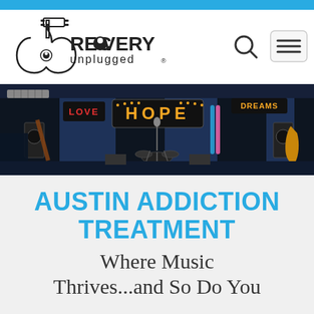Recovery Unplugged
[Figure (screenshot): Navigation header with Recovery Unplugged guitar logo on left, search icon and hamburger menu button on right]
[Figure (photo): Interior of a music room/stage with dark blue walls, a lit marquee sign spelling HOPE in orange/yellow bulb letters, additional neon signs, musical instruments including drums, guitars, and microphone stands]
AUSTIN ADDICTION TREATMENT
Where Music Thrives...and So Do You